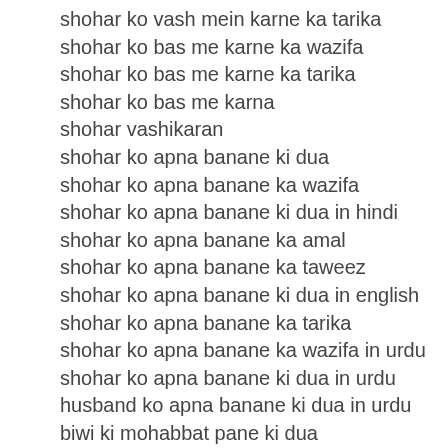shohar ko vash mein karne ka tarika
shohar ko bas me karne ka wazifa
shohar ko bas me karne ka tarika
shohar ko bas me karna
shohar vashikaran
shohar ko apna banane ki dua
shohar ko apna banane ka wazifa
shohar ko apna banane ki dua in hindi
shohar ko apna banane ka amal
shohar ko apna banane ka taweez
shohar ko apna banane ki dua in english
shohar ko apna banane ka tarika
shohar ko apna banane ka wazifa in urdu
shohar ko apna banane ki dua in urdu
husband ko apna banane ki dua in urdu
biwi ki mohabbat pane ki dua
biwi ko kabu karne ka tarika
biwi ko kabu kaise kare
biwi ko kabu karne ka wazifa